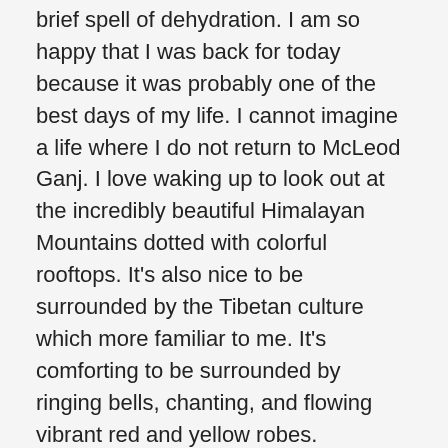brief spell of dehydration. I am so happy that I was back for today because it was probably one of the best days of my life. I cannot imagine a life where I do not return to McLeod Ganj. I love waking up to look out at the incredibly beautiful Himalayan Mountains dotted with colorful rooftops. It's also nice to be surrounded by the Tibetan culture which more familiar to me. It's comforting to be surrounded by ringing bells, chanting, and flowing vibrant red and yellow robes.
We started off our day with our first interview of the trip, Rinchen Khando. Rinchen Khando is the leader and founder of the Tibetan Nuns Project. As soon as she began talking she became my role model. She spoke beautifully about the value of educating women just like men. She said that in the beginning there was talk of offering the nuns an easier scholarly path, littered with concessions like a lower passing